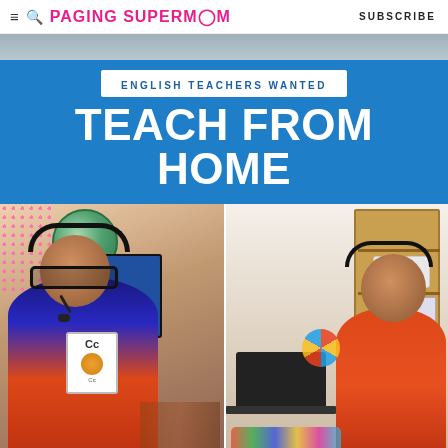≡ 🔍 PAGING SUPERMOM | SUBSCRIBE
[Figure (photo): Promotional image for teaching from home. Blue banner with white text reading 'ENGLISH TEACHERS WANTED' and large 'TEACH FROM HOME' headline. Below are two photos of women in orange shirts teaching online — one holding a letter card with headset, another at a desk with headset.]